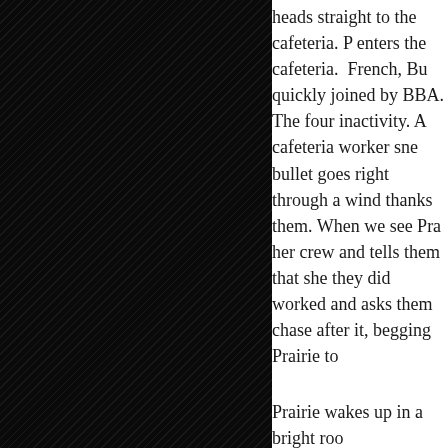heads straight to the cafeteria. P enters the cafeteria. French, Bu quickly joined by BBA. The four inactivity. A cafeteria worker sne bullet goes right through a wind thanks them. When we see Pra her crew and tells them that she they did worked and asks them chase after it, begging Prairie to
Prairie wakes up in a bright roo
I must admit to being stunned b is appropriate because essentia stresses of youth and youth in p having an NDE as a child and o having trouble fitting in or recon manifestation of youth pain that
I suppose my first question is w therapist but beyond talking with whatsoever. Part of me believe Why would he care what Prairie